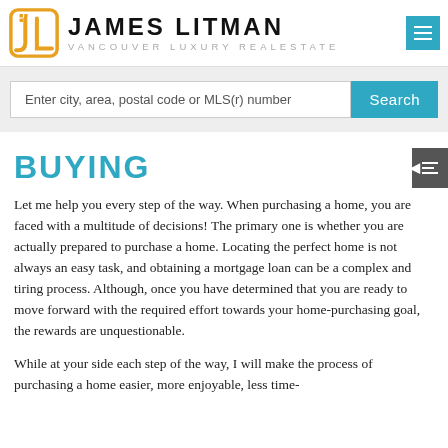JAMES LITMAN VANCOUVER LUXURY REALESTATE
Enter city, area, postal code or MLS(r) number
BUYING
Let me help you every step of the way. When purchasing a home, you are faced with a multitude of decisions! The primary one is whether you are actually prepared to purchase a home. Locating the perfect home is not always an easy task, and obtaining a mortgage loan can be a complex and tiring process. Although, once you have determined that you are ready to move forward with the required effort towards your home-purchasing goal, the rewards are unquestionable.
While at your side each step of the way, I will make the process of purchasing a home easier, more enjoyable, less time-